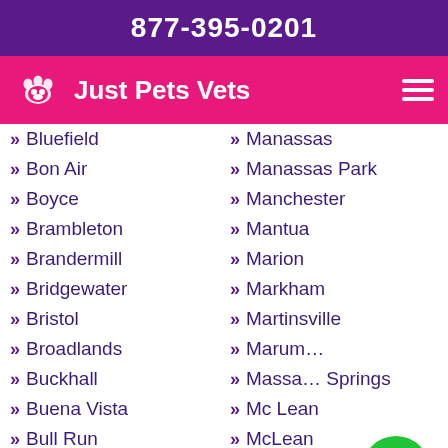877-395-0201
[Figure (logo): Just Pets Vets logo with paw print icon on pink/magenta navigation bar]
Bluefield
Manassas
Bon Air
Manassas Park
Boyce
Manchester
Brambleton
Mantua
Brandermill
Marion
Bridgewater
Markham
Bristol
Martinsville
Broadlands
Marum…
Buckhall
Massaponax Springs
Buena Vista
Mc Lean
Bull Run
McLean
Burke
McNair
Burke Centre
Meadowbrook